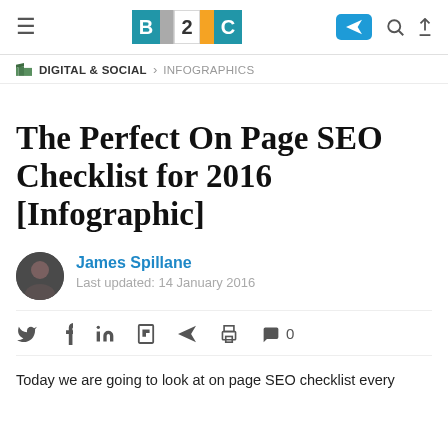B2C — navigation header with logo and icons
DIGITAL & SOCIAL › INFOGRAPHICS
The Perfect On Page SEO Checklist for 2016 [Infographic]
James Spillane
Last updated: 14 January 2016
Social share icons: twitter, facebook, linkedin, flipboard, telegram, print, comments 0
Today we are going to look at on page SEO checklist every